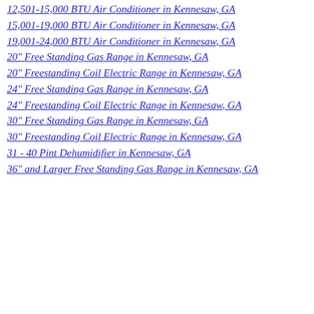12,501-15,000 BTU Air Conditioner in Kennesaw, GA
15,001-19,000 BTU Air Conditioner in Kennesaw, GA
19,001-24,000 BTU Air Conditioner in Kennesaw, GA
20" Free Standing Gas Range in Kennesaw, GA
20" Freestanding Coil Electric Range in Kennesaw, GA
24" Free Standing Gas Range in Kennesaw, GA
24" Freestanding Coil Electric Range in Kennesaw, GA
30" Free Standing Gas Range in Kennesaw, GA
30" Freestanding Coil Electric Range in Kennesaw, GA
31 - 40 Pint Dehumidifier in Kennesaw, GA
36" and Larger Free Standing Gas Range in Kennesaw, GA